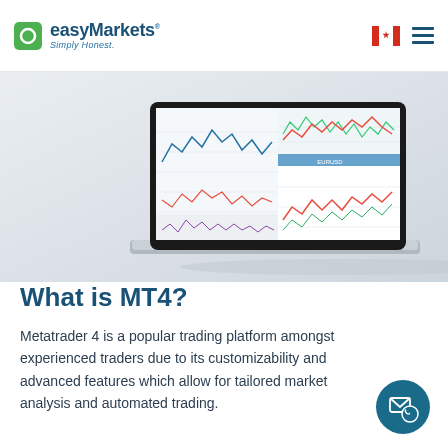easyMarkets Simply Honest.
[Figure (screenshot): A laptop computer displaying multiple financial trading charts (MT4 platform) showing candlestick charts and technical analysis indicators, photographed from a low angle on a light gray background.]
What is MT4?
Metatrader 4 is a popular trading platform amongst experienced traders due to its customizability and advanced features which allow for tailored market analysis and automated trading.